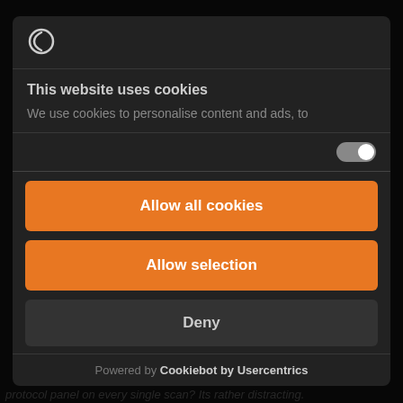[Figure (screenshot): Cookie consent modal overlay on a dark website background. The modal shows a logo (circle outline), title 'This website uses cookies', partial description text, a toggle switch, and three action buttons: 'Allow all cookies' (orange), 'Allow selection' (orange), and 'Deny' (dark). Below the modal is 'Powered by Cookiebot by Usercentrics'. Background shows partial text about a protocol panel.]
This website uses cookies
We use cookies to personalise content and ads, to
Allow all cookies
Allow selection
Deny
Powered by Cookiebot by Usercentrics
protocol panel on every single scan? Its rather distracting.